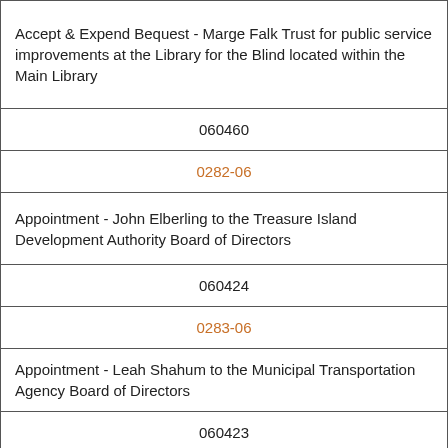| Accept & Expend Bequest - Marge Falk Trust for public service improvements at the Library for the Blind located within the Main Library |
| 060460 |
| 0282-06 |
| Appointment - John Elberling to the Treasure Island Development Authority Board of Directors |
| 060424 |
| 0283-06 |
| Appointment - Leah Shahum to the Municipal Transportation Agency Board of Directors |
| 060423 |
| 0284-06 |